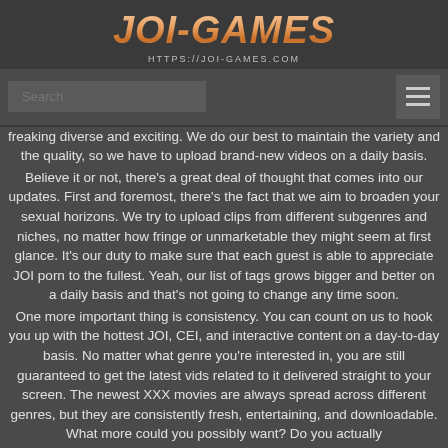JOI-GAMES
HTTPS://JOI-GAMES.COM
[Figure (other): Search input box and hamburger menu navigation bar]
freaking diverse and exciting. We do our best to maintain the variety and the quality, so we have to upload brand-new videos on a daily basis.
Believe it or not, there's a great deal of thought that comes into our updates. First and foremost, there's the fact that we aim to broaden your sexual horizons. We try to upload clips from different subgenres and niches, no matter how fringe or unmarketable they might seem at first glance. It's our duty to make sure that each guest is able to appreciate JOI porn to the fullest. Yeah, our list of tags grows bigger and better on a daily basis and that's not going to change any time soon.
One more important thing is consistency. You can count on us to hook you up with the hottest JOI, CEI, and interactive content on a day-to-day basis. No matter what genre you're interested in, you are still guaranteed to get the latest vids related to it delivered straight to your screen. The newest XXX movies are always spread across different genres, but they are consistently fresh, entertaining, and downloadable. What more could you possibly want? Do you actually